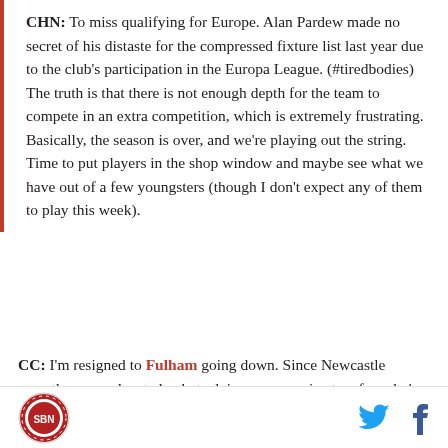CHN: To miss qualifying for Europe. Alan Pardew made no secret of his distaste for the compressed fixture list last year due to the club's participation in the Europa League. (#tiredbodies) The truth is that there is not enough depth for the team to compete in an extra competition, which is extremely frustrating. Basically, the season is over, and we're playing out the string. Time to put players in the shop window and maybe see what we have out of a few youngsters (though I don't expect any of them to play this week).
CC: I'm resigned to Fulham going down. Since Newcastle recently were relegated, what advice can you give to a fan who's never actually experienced it?
[logo] [twitter] [facebook]